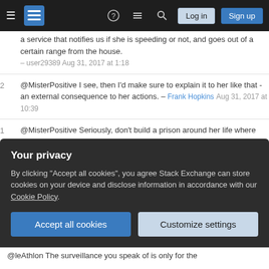Stack Exchange navigation bar with Log in and Sign up buttons
a service that notifies us if she is speeding or not, and goes out of a certain range from the house. – user29389 Aug 31, 2017 at 1:18
2 @MisterPositive I see, then I'd make sure to explain it to her like that - an external consequence to her actions. – Frank Hopkins Aug 31, 2017 at 10:39
1 @MisterPositive Seriously, don't build a prison around her life where you're the big brother watching everything. I'm not a parent, but as a grown up who has been very well surveiled in youth, I don't recommend surveillance. Do something preventive. Maybe prefer such a device in your car which beeps when the car is speeding, so she notices her mistakes
Your privacy
By clicking "Accept all cookies", you agree Stack Exchange can store cookies on your device and disclose information in accordance with our Cookie Policy.
@leAthlon The surveillance you speak of is only for the